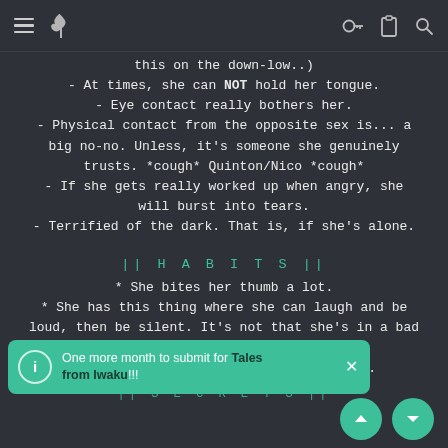Navigation header with menu, bird logo, key icon, clipboard icon, search icon
this on the down-low..)
- At times, she can NOT hold her tongue.
- Eye contact really bothers her.
- Physical contact from the opposite sex is... a big no-no. Unless, it's someone she genuinely trusts. *cough* Quinton/Nico *cough*
- If she gets really worked up when angry, she will burst into tears.
- Terrified of the dark. That is, if she's alone.
|| H A B I T S ||
* She bites her thumb a lot.
* She has this thing where she can laugh and be loud, then be silent. It's not that she's in a bad  at times.
  le a lot.
|| S E C R E T S ||
One more month to submit for Tales from Iwaku!!!